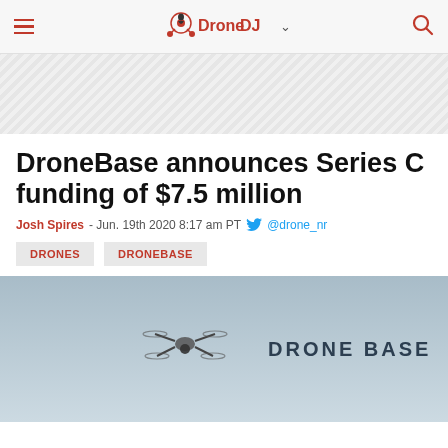DroneDJ navigation bar with hamburger menu, logo, chevron, and search icon
[Figure (other): Advertisement banner area with diagonal hatching pattern]
DroneBase announces Series C funding of $7.5 million
Josh Spires - Jun. 19th 2020 8:17 am PT @drone_nr
DRONES
DRONEBASE
[Figure (photo): A drone (quadcopter) flying in a hazy grey sky with DRONE BASE text logo on the right side]